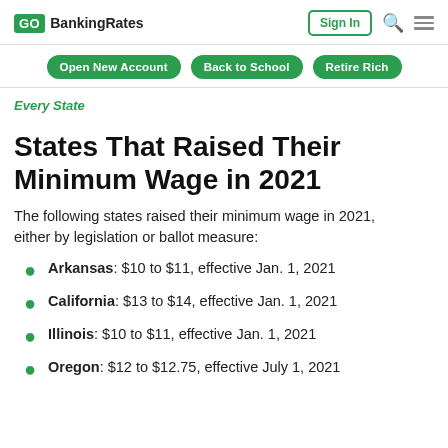GO BankingRates | Sign In
Open New Account | Back to School | Retire Rich
Every State
States That Raised Their Minimum Wage in 2021
The following states raised their minimum wage in 2021, either by legislation or ballot measure:
Arkansas: $10 to $11, effective Jan. 1, 2021
California: $13 to $14, effective Jan. 1, 2021
Illinois: $10 to $11, effective Jan. 1, 2021
Oregon: $12 to $12.75, effective July 1, 2021